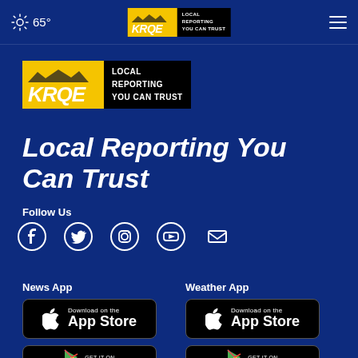65° | KRQE LOCAL REPORTING YOU CAN TRUST
[Figure (logo): KRQE logo — yellow and black badge with mountain silhouette, text LOCAL REPORTING YOU CAN TRUST]
Local Reporting You Can Trust
Follow Us
[Figure (infographic): Social media icons: Facebook, Twitter, Instagram, YouTube, Email]
News App
Weather App
[Figure (screenshot): Download on the App Store button (News App)]
[Figure (screenshot): Download on the App Store button (Weather App)]
[Figure (screenshot): GET IT ON Google Play button (News App, partial)]
[Figure (screenshot): GET IT ON Google Play button (Weather App, partial)]